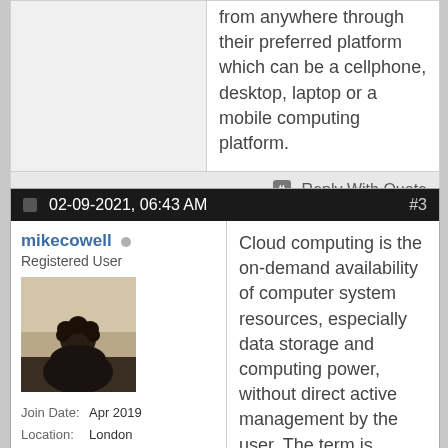from anywhere through their preferred platform which can be a cellphone, desktop, laptop or a mobile computing platform.
Reply With Quote
02-09-2021, 06:43 AM   #3
mikecowell
Registered User
[Figure (photo): Profile avatar photo of a person seen from behind with curly hair, sepia/monochrome tone]
Join Date: Apr 2019
Location: London
Posts: 262
Cloud computing is the on-demand availability of computer system resources, especially data storage and computing power, without direct active management by the user. The term is generally used to describe data centers available to many users